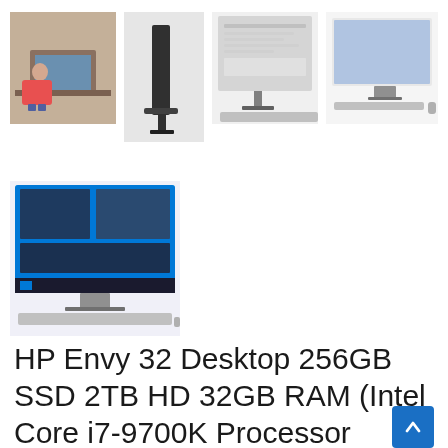[Figure (photo): Row of product thumbnail images: person at desk with HP all-in-one, monitor side profile, monitor front with content on screen, HP all-in-one with keyboard and mouse]
[Figure (photo): Second row thumbnail: HP Envy 32 all-in-one desktop with blue screen, keyboard and mouse shown below]
HP Envy 32 Desktop 256GB SSD 2TB HD 32GB RAM (Intel Core i7-9700K Processor 3.60Ghz Turbo Boost to 4.90GHz, 32 GB RAM,256 GB SSD + 2 TB HD, 32" 4K UHD (3840 x 2160), Win 10) PC